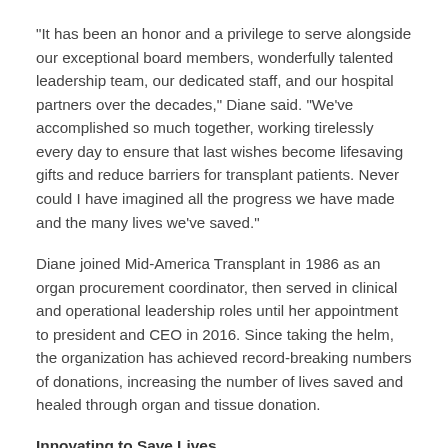“It has been an honor and a privilege to serve alongside our exceptional board members, wonderfully talented leadership team, our dedicated staff, and our hospital partners over the decades,” Diane said. “We’ve accomplished so much together, working tirelessly every day to ensure that last wishes become lifesaving gifts and reduce barriers for transplant patients. Never could I have imagined all the progress we have made and the many lives we’ve saved.”
Diane joined Mid-America Transplant in 1986 as an organ procurement coordinator, then served in clinical and operational leadership roles until her appointment to president and CEO in 2016. Since taking the helm, the organization has achieved record-breaking numbers of donations, increasing the number of lives saved and healed through organ and tissue donation.
Innovating to Save Lives